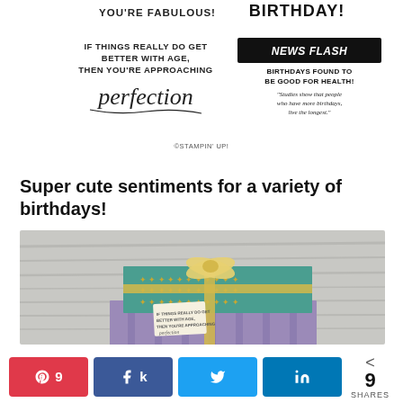[Figure (illustration): Stampin Up birthday stamp set showing four stamps: 'YOU'RE FABULOUS!', 'BIRTHDAY!', a sentiment about perfection with cursive text, and a NEWS FLASH newspaper-style sentiment about birthdays being good for health.]
©STAMPIN' UP!
Super cute sentiments for a variety of birthdays!
[Figure (photo): Photo of gift boxes wrapped in teal and purple patterned paper with gold ribbon and a tag that reads 'IF THINGS REALLY DO GET BETTER WITH AGE, THEN YOU'RE APPROACHING perfection', on a wood background.]
9 SHARES — Share buttons: Pinterest (9), Facebook, Twitter, LinkedIn